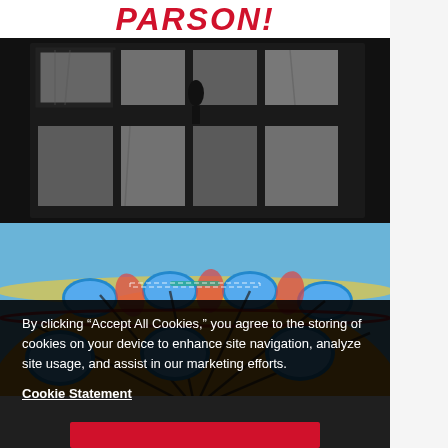PARSONS!
[Figure (photo): Black and white photograph of a multi-pane window with dark frames, trees visible through the glass, silhouette of a figure or object in the center.]
[Figure (photo): Colorful decorated carousel or ornamental umbrella top photographed against a blue sky, with elaborate painted scenes in oval medallions, red, yellow, green, blue colors.]
By clicking “Accept All Cookies,” you agree to the storing of cookies on your device to enhance site navigation, analyze site usage, and assist in our marketing efforts.
Cookie Statement